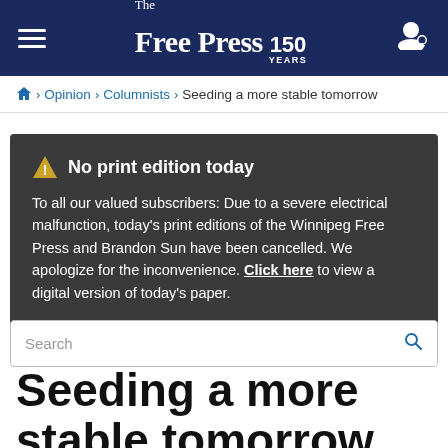The Free Press 150 YEARS
🏠 > Opinion > Columnists > Seeding a more stable tomorrow
⚠ No print edition today
To all our valued subscribers: Due to a severe electrical malfunction, today's print editions of the Winnipeg Free Press and Brandon Sun have been cancelled. We apologize for the inconvenience. Click here to view a digital version of today's paper.
Search
Seeding a more stable tomorrow